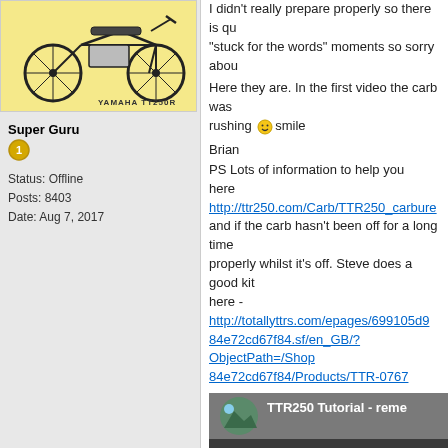[Figure (illustration): Hand-drawn illustration of a Yamaha TT250R dirt bike with text 'YAMAHA TT250R' written below]
Super Guru
[Figure (illustration): Gold medal/badge icon number 1]
Status: Offline
Posts: 8403
Date: Aug 7, 2017
I didn't really prepare properly so there is qu... "stuck for the words" moments so sorry abou...
Here they are. In the first video the carb was... rushing  smile
Brian
PS Lots of information to help you here http://ttr250.com/Carb/TTR250_carbure... and if the carb hasn't been off for a long time... properly whilst it's off. Steve does a good kit... here - http://totallyttrs.com/epages/699105d9... 84e72cd67f84.sf/en_GB/?ObjectPath=/Shop... 84e72cd67f84/Products/TTR-0767
[Figure (screenshot): YouTube video thumbnail showing TTR250 Tutorial video with a blue Yamaha dirt bike and YouTube play button]